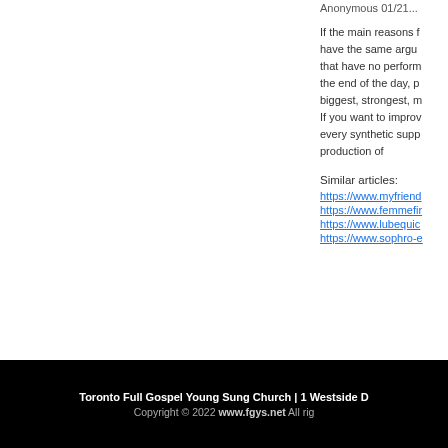If the main reasons f... have the same argu... that have no perform... the end of the day, p... biggest, strongest, m... If you want to improv... every synthetic supp... production of
Similar articles:
https://www.myfriend...
https://www.femmefir...
https://www.lubequic...
https://www.sophro-e...
Toronto Full Gospel Young Sung Church | 1 Westside D... Copyright © 2022 www.fgys.net All rig...